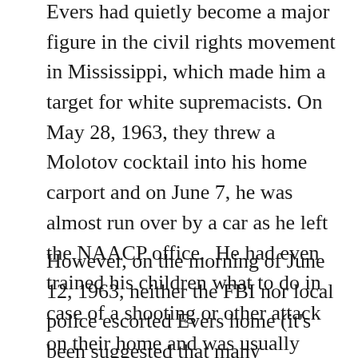Evers had quietly become a major figure in the civil rights movement in Mississippi, which made him a target for white supremacists. On May 28, 1963, they threw a Molotov cocktail into his home carport and on June 7, he was almost run over by a car as he left the NAACP office.  He had even trained his children what to do in case of a shooting or other attack on their home and was usually followed home by at least two FBI cars and one police car.
However, on the morning of June 12, 1963, neither the FBI nor local police escorted Evers home (it's been suggested that many members of the police force were members of the Ku Klux Klan).  After an early morning meeting with NAACP lawyers, Evers returned home late, after getting out of his...